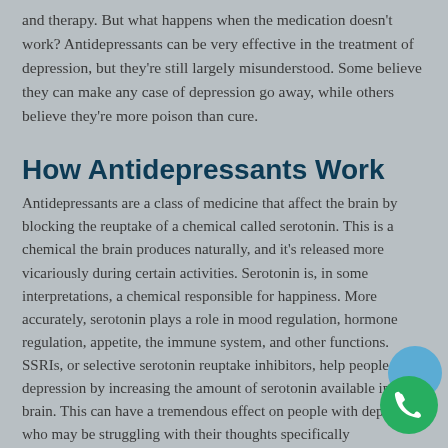and therapy. But what happens when the medication doesn't work? Antidepressants can be very effective in the treatment of depression, but they're still largely misunderstood. Some believe they can make any case of depression go away, while others believe they're more poison than cure.
How Antidepressants Work
Antidepressants are a class of medicine that affect the brain by blocking the reuptake of a chemical called serotonin. This is a chemical the brain produces naturally, and it's released more vicariously during certain activities. Serotonin is, in some interpretations, a chemical responsible for happiness. More accurately, serotonin plays a role in mood regulation, hormone regulation, appetite, the immune system, and other functions. SSRIs, or selective serotonin reuptake inhibitors, help people with depression by increasing the amount of serotonin available in their brain. This can have a tremendous effect on people with depression who may be struggling with their thoughts specifically